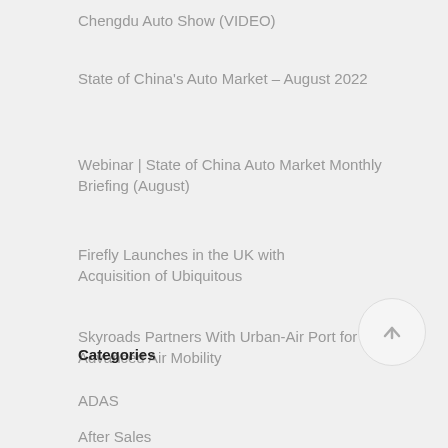Chengdu Auto Show (VIDEO)
State of China's Auto Market – August 2022
Webinar | State of China Auto Market Monthly Briefing (August)
Firefly Launches in the UK with Acquisition of Ubiquitous
Skyroads Partners With Urban-Air Port for Advanced Air Mobility
Categories
ADAS
After Sales